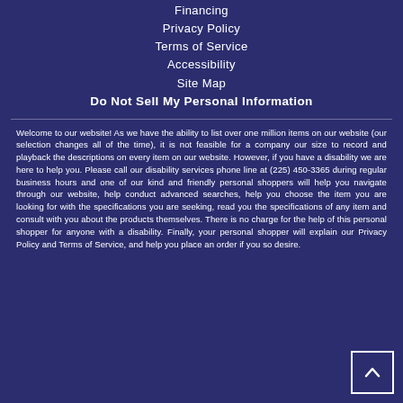Financing
Privacy Policy
Terms of Service
Accessibility
Site Map
Do Not Sell My Personal Information
Welcome to our website! As we have the ability to list over one million items on our website (our selection changes all of the time), it is not feasible for a company our size to record and playback the descriptions on every item on our website. However, if you have a disability we are here to help you. Please call our disability services phone line at (225) 450-3365 during regular business hours and one of our kind and friendly personal shoppers will help you navigate through our website, help conduct advanced searches, help you choose the item you are looking for with the specifications you are seeking, read you the specifications of any item and consult with you about the products themselves. There is no charge for the help of this personal shopper for anyone with a disability. Finally, your personal shopper will explain our Privacy Policy and Terms of Service, and help you place an order if you so desire.